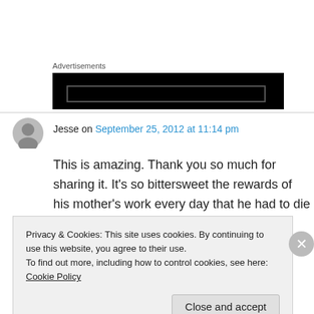Advertisements
[Figure (other): Black advertisement banner block]
Jesse on September 25, 2012 at 11:14 pm
This is amazing. Thank you so much for sharing it. It's so bittersweet the rewards of his mother's work every day that he had to die to make it happen. I can't help but wonder how many more
Privacy & Cookies: This site uses cookies. By continuing to use this website, you agree to their use.
To find out more, including how to control cookies, see here: Cookie Policy
Close and accept